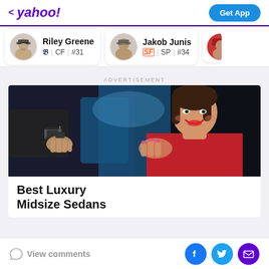yahoo! | Get App
Riley Greene | CF | #31
Jakob Junis | SP | #34
ADVERTISEMENT
[Figure (photo): Person in red jacket receiving car keys from another person, smiling, inside a car]
Best Luxury Midsize Sedans
View comments | Facebook | Twitter | Mail